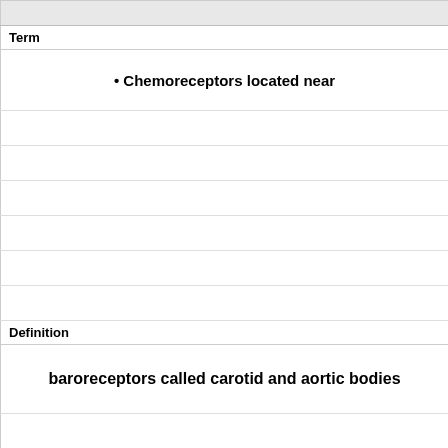| Term |
| --- |
| • Chemoreceptors located near |
| Definition |
| --- |
| baroreceptors called carotid and aortic bodies |